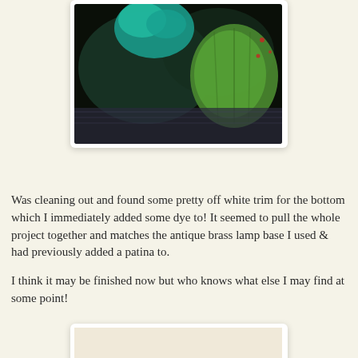[Figure (photo): Close-up photo of green and teal colored lamp shade or decorative object on a patterned surface, dark background]
Was cleaning out and found some pretty off white trim for the bottom which I immediately added some dye to! It seemed to pull the whole project together and matches the antique brass lamp base I used & had previously added a patina to.
I think it may be finished now but who knows what else I may find at some point!
[Figure (photo): Photo of decorative items on a shelf including what appears to be a fabric fan, a small figurine, a round clock, and other decorative objects against a light background]